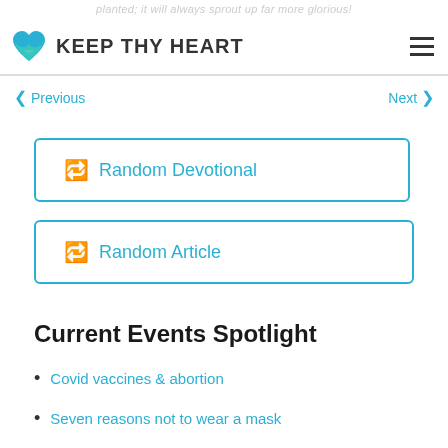planted; it will always sprout up far more glorious!
KEEP THY HEART
❮ Previous
Next ❯
🔃 Random Devotional
🔃 Random Article
Current Events Spotlight
Covid vaccines & abortion
Seven reasons not to wear a mask